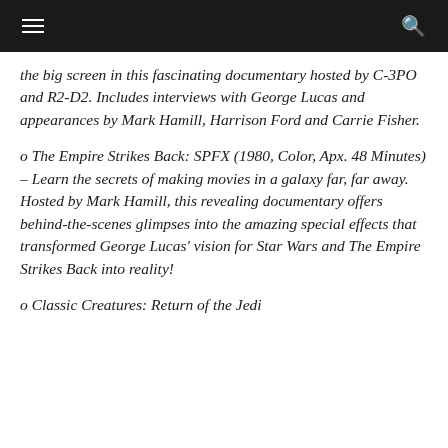[hamburger menu] [search icon]
the big screen in this fascinating documentary hosted by C-3PO and R2-D2. Includes interviews with George Lucas and appearances by Mark Hamill, Harrison Ford and Carrie Fisher.
o The Empire Strikes Back: SPFX (1980, Color, Apx. 48 Minutes) – Learn the secrets of making movies in a galaxy far, far away. Hosted by Mark Hamill, this revealing documentary offers behind-the-scenes glimpses into the amazing special effects that transformed George Lucas' vision for Star Wars and The Empire Strikes Back into reality!
o Classic Creatures: Return of the Jedi